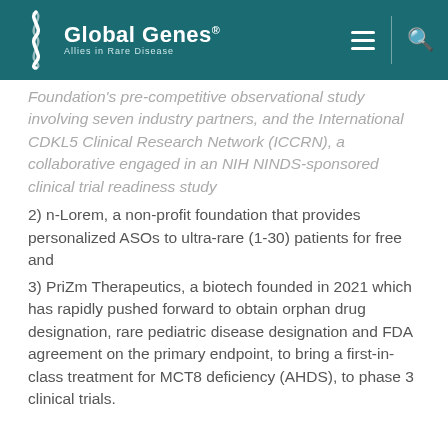Global Genes® — Allies in Rare Disease
Foundation's pre-competitive observational study involving seven industry partners, and the International CDKL5 Clinical Research Network (ICCRN), a collaborative engaged in an NIH NINDS-sponsored clinical trial readiness study
2) n-Lorem, a non-profit foundation that provides personalized ASOs to ultra-rare (1-30) patients for free and
3) PriZm Therapeutics, a biotech founded in 2021 which has rapidly pushed forward to obtain orphan drug designation, rare pediatric disease designation and FDA agreement on the primary endpoint, to bring a first-in-class treatment for MCT8 deficiency (AHDS), to phase 3 clinical trials.